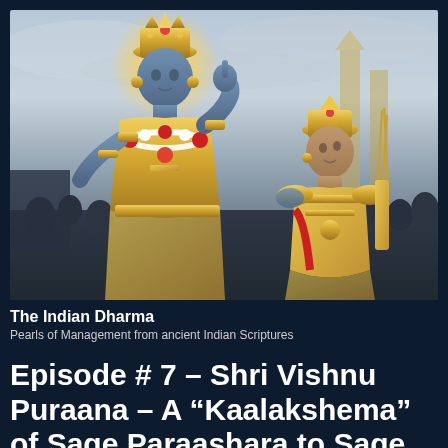[Figure (illustration): Illustration of a blue-skinned deity (Krishna) in golden ornaments and garland gesturing with one hand toward a warrior figure in golden armor, set against a dramatic battle scene background. Religious/mythological art depicting the Bhagavad Gita scene.]
The Indian Dharma
Pearls of Management from ancient Indian Scriptures
Episode # 7 – Shri Vishnu Puraana – A “Kaalakshema” of Sage Paraashara to Sage